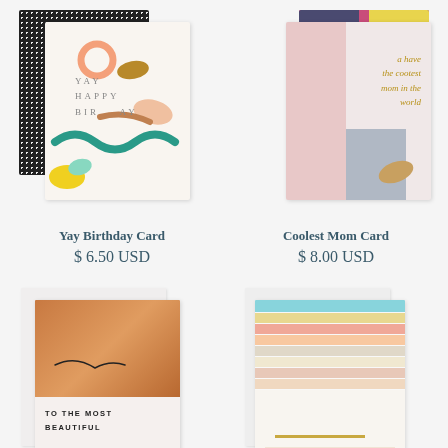[Figure (photo): Yay Birthday Card product photo showing colorful abstract greeting card with black dotted pattern background]
[Figure (photo): Coolest Mom Card product photo showing pink greeting card with gold script text reading 'a have the cootest mom in the world']
Yay Birthday Card
$ 6.50 USD
Coolest Mom Card
$ 8.00 USD
[Figure (photo): Greeting card with copper/brown watercolor wash and text reading TO THE MOST BEAUTIFUL]
[Figure (photo): Greeting card with colorful horizontal stripes in pastel colors]